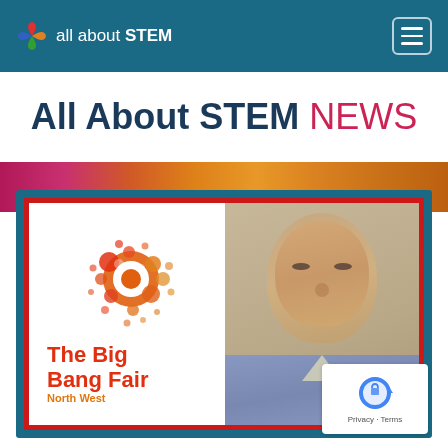all about STEM
All About STEM NEWS
[Figure (screenshot): Card with The Big Bang Fair North West logo on the left (colourful sphere of circles in red/orange) and a headshot photo of a bald middle-aged man on the right, set within a teal outer border and red inner border frame.]
The Big Bang Fair North West